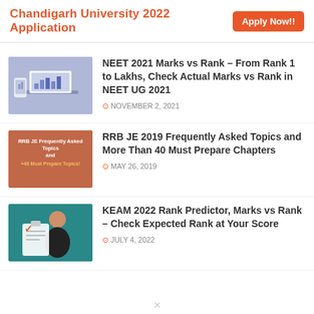Chandigarh University 2022 Application  Apply Now!!
NEET 2021 Marks vs Rank – From Rank 1 to Lakhs, Check Actual Marks vs Rank in NEET UG 2021
NOVEMBER 2, 2021
RRB JE 2019 Frequently Asked Topics and More Than 40 Must Prepare Chapters
MAY 26, 2019
KEAM 2022 Rank Predictor, Marks vs Rank – Check Expected Rank at Your Score
JULY 4, 2022